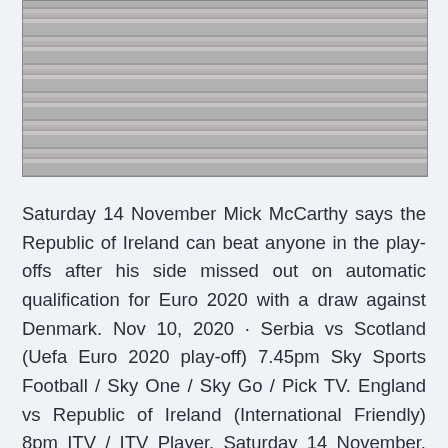[Figure (photo): A photo of a wooden plank or textured wood-panel surface, showing horizontal grey/brown wood boards or slats.]
Saturday 14 November Mick McCarthy says the Republic of Ireland can beat anyone in the play-offs after his side missed out on automatic qualification for Euro 2020 with a draw against Denmark. Nov 10, 2020 · Serbia vs Scotland (Uefa Euro 2020 play-off) 7.45pm Sky Sports Football / Sky One / Sky Go / Pick TV. England vs Republic of Ireland (International Friendly) 8pm ITV / ITV Player. Saturday 14 November. Malta vs Andorra (Uefa Nations League) 2pm Sky Sports Red Button. San Marino vs Gibraltar (Uefa Nations League) 2pm Sky Sports Football The UEFA European Football...